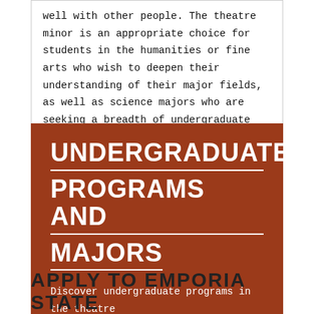well with other people. The theatre minor is an appropriate choice for students in the humanities or fine arts who wish to deepen their understanding of their major fields, as well as science majors who are seeking a breadth of undergraduate experiences.
UNDERGRADUATE PROGRAMS AND MAJORS
Discover undergraduate programs in the theatre department.
APPLY TO EMPORIA STATE